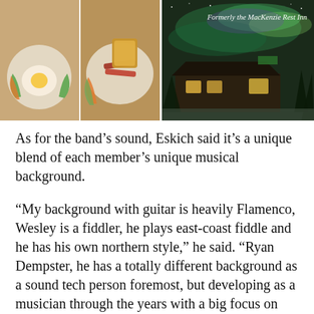[Figure (photo): Left side: two plates of breakfast food (eggs, bacon, toast, melon slices). Right side: exterior of a lodge/inn at night with northern lights (aurora borealis) in the sky. Text overlay reads 'Formerly the MacKenzie Rest Inn'.]
As for the band’s sound, Eskich said it’s a unique blend of each member’s unique musical background.
“My background with guitar is heavily Flamenco, Wesley is a fiddler, he plays east-coast fiddle and he has his own northern style,” he said. “Ryan Dempster, he has a totally different background as a sound tech person foremost, but developing as a musician through the years with a big focus on blues music.”
Eskich said he and Wesley live together,